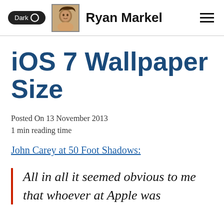Dark O  Ryan Markel
iOS 7 Wallpaper Size
Posted On 13 November 2013
1 min reading time
John Carey at 50 Foot Shadows:
All in all it seemed obvious to me that whoever at Apple was